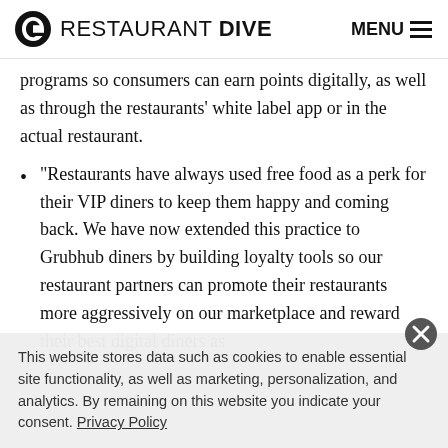RESTAURANT DIVE  MENU
programs so consumers can earn points digitally, as well as through the restaurants' white label app or in the actual restaurant.
“Restaurants have always used free food as a perk for their VIP diners to keep them happy and coming back. We have now extended this practice to Grubhub diners by building loyalty tools so our restaurant partners can promote their restaurants more aggressively on our marketplace and reward their best digital diners as
This website stores data such as cookies to enable essential site functionality, as well as marketing, personalization, and analytics. By remaining on this website you indicate your consent. Privacy Policy